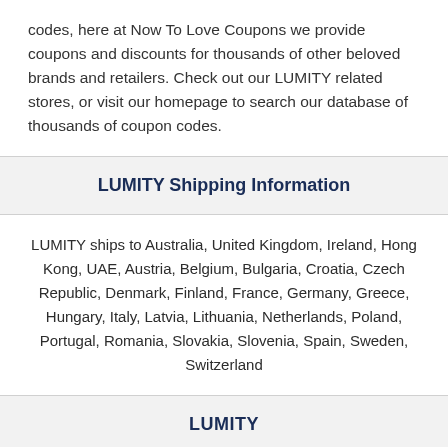codes, here at Now To Love Coupons we provide coupons and discounts for thousands of other beloved brands and retailers. Check out our LUMITY related stores, or visit our homepage to search our database of thousands of coupon codes.
LUMITY Shipping Information
LUMITY ships to Australia, United Kingdom, Ireland, Hong Kong, UAE, Austria, Belgium, Bulgaria, Croatia, Czech Republic, Denmark, Finland, France, Germany, Greece, Hungary, Italy, Latvia, Lithuania, Netherlands, Poland, Portugal, Romania, Slovakia, Slovenia, Spain, Sweden, Switzerland
LUMITY